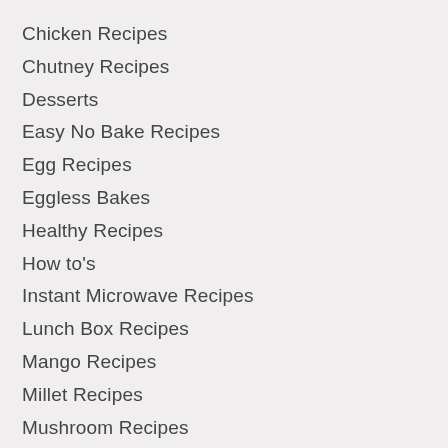Chicken Recipes
Chutney Recipes
Desserts
Easy No Bake Recipes
Egg Recipes
Eggless Bakes
Healthy Recipes
How to's
Instant Microwave Recipes
Lunch Box Recipes
Mango Recipes
Millet Recipes
Mushroom Recipes
Mutton Recipes
Oats Recipes